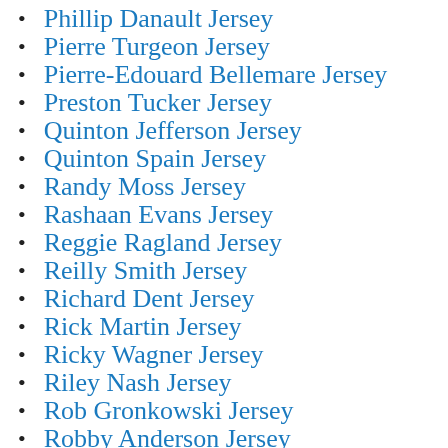Phillip Danault Jersey
Pierre Turgeon Jersey
Pierre-Edouard Bellemare Jersey
Preston Tucker Jersey
Quinton Jefferson Jersey
Quinton Spain Jersey
Randy Moss Jersey
Rashaan Evans Jersey
Reggie Ragland Jersey
Reilly Smith Jersey
Richard Dent Jersey
Rick Martin Jersey
Ricky Wagner Jersey
Riley Nash Jersey
Rob Gronkowski Jersey
Robby Anderson Jersey
Robert Boston Jersey